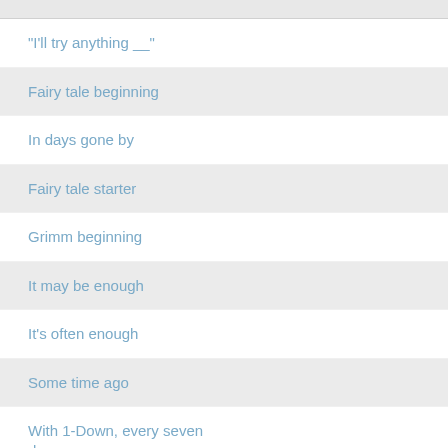"I'll try anything __"
Fairy tale beginning
In days gone by
Fairy tale starter
Grimm beginning
It may be enough
It's often enough
Some time ago
With 1-Down, every seven days